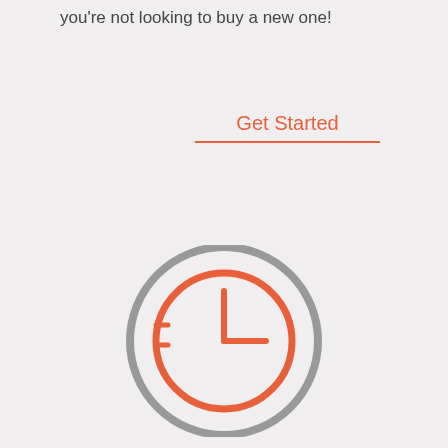you're not looking to buy a new one!
Get Started
[Figure (illustration): A clock icon consisting of an outer gray circle and an inner orange circle with clock hands showing approximately 3 o'clock, with two small tick marks on the left side of the inner circle.]